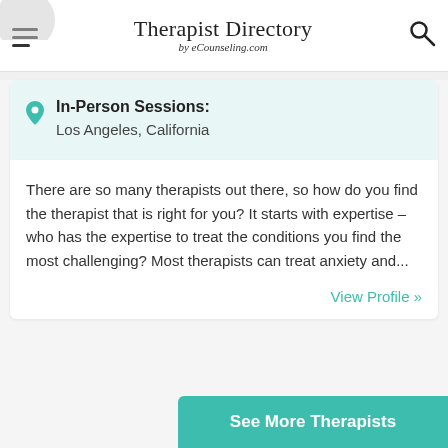Therapist Directory by eCounseling.com
In-Person Sessions: Los Angeles, California
There are so many therapists out there, so how do you find the therapist that is right for you? It starts with expertise – who has the expertise to treat the conditions you find the most challenging? Most therapists can treat anxiety and...
View Profile »
See More Therapists